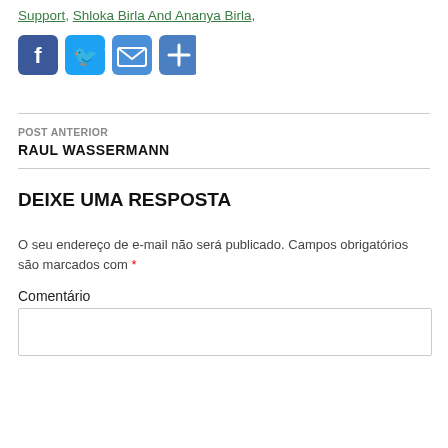Support, Shloka Birla And Ananya Birla,
[Figure (infographic): Four social sharing buttons: Facebook (blue), Twitter (light blue), Email (blue envelope), Share/plus (blue plus)]
POST ANTERIOR
RAUL WASSERMANN
DEIXE UMA RESPOSTA
O seu endereço de e-mail não será publicado. Campos obrigatórios são marcados com *
Comentário